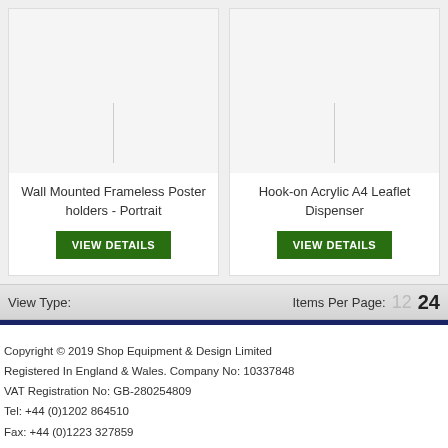[Figure (other): Product card: Wall Mounted Frameless Poster holders - Portrait with VIEW DETAILS button]
[Figure (other): Product card: Hook-on Acrylic A4 Leaflet Dispenser with VIEW DETAILS button]
View Type:
Items Per Page: 12 24
Copyright © 2019 Shop Equipment & Design Limited
Registered In England & Wales. Company No: 10337848
VAT Registration No: GB-280254809
Tel: +44 (0)1202 864510
Fax: +44 (0)1223 327859
Email: sales@shopequip.co.uk